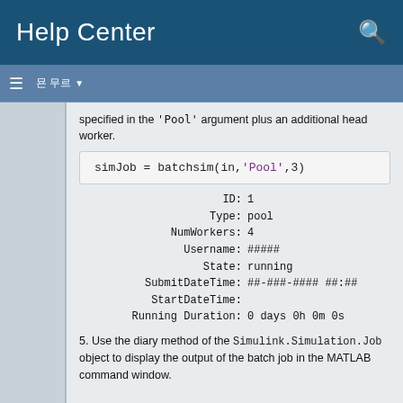Help Center
specified in the 'Pool' argument plus an additional head worker.
simJob = batchsim(in, 'Pool', 3)
ID: 1
Type: pool
NumWorkers: 4
Username: #####
State: running
SubmitDateTime: ##-###-#### ##:##
StartDateTime:
Running Duration: 0 days 0h 0m 0s
5. Use the diary method of the Simulink.Simulation.Job object to display the output of the batch job in the MATLAB command window.